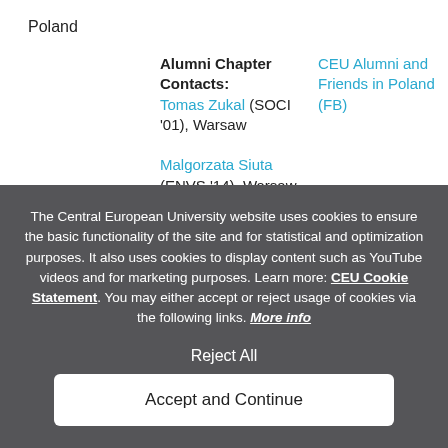Poland
Alumni Chapter Contacts:
Tomas Zukal (SOCI '01), Warsaw
Malgorzata Siuta (ENVS '14), Warsaw
CEU Alumni and Friends in Poland (FB)
The Central European University website uses cookies to ensure the basic functionality of the site and for statistical and optimization purposes. It also uses cookies to display content such as YouTube videos and for marketing purposes. Learn more: CEU Cookie Statement. You may either accept or reject usage of cookies via the following links. More info
Reject All
Accept and Continue